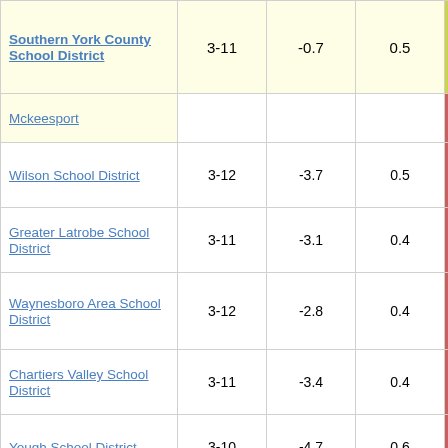| District | Grades | Col3 | Col4 | Score |
| --- | --- | --- | --- | --- |
| Southern York County School District | 3-11 | -0.7 | 0.5 | -1.39 |
| Mckeesport |  |  |  |  |
| Wilson School District | 3-12 | -3.7 | 0.5 | -7.41 |
| Greater Latrobe School District | 3-11 | -3.1 | 0.4 | -7.50 |
| Waynesboro Area School District | 3-12 | -2.8 | 0.4 | -7.51 |
| Chartiers Valley School District | 3-11 | -3.4 | 0.4 | -8.00 |
| Yough School District | 3-10 | -4.7 | 0.6 | -8.11 |
| Philipsburg-Osceola Area School District | 3-11 | -4.8 | 0.6 | -8.12 |